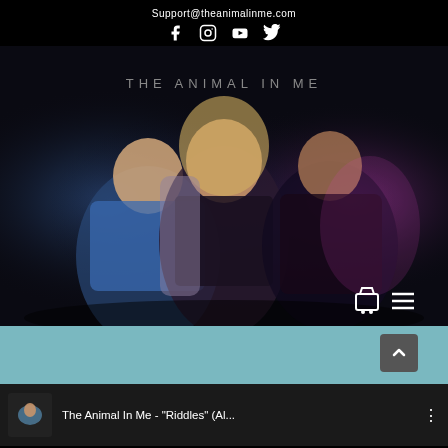Support@theanimalinme.com
[Figure (illustration): Four social media icons: Facebook (f), Instagram (camera), YouTube (play button), Twitter (bird)]
[Figure (photo): Band photo of three people (two men and a woman) posed against a dark background with purple/blue lighting, with THE ANIMAL IN ME text overlay at the top, and shopping cart and hamburger menu icons at bottom right]
The Animal In Me - "Riddles" (Al...